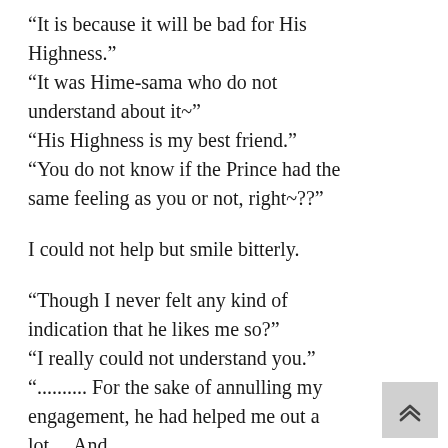“It is because it will be bad for His Highness.” “It was Hime-sama who do not understand about it~” “His Highness is my best friend.” “You do not know if the Prince had the same feeling as you or not, right~??”
I could not help but smile bitterly.
“Though I never felt any kind of indication that he likes me so?” “I really could not understand you.” “.......... For the sake of annulling my engagement, he had helped me out a lot.... And